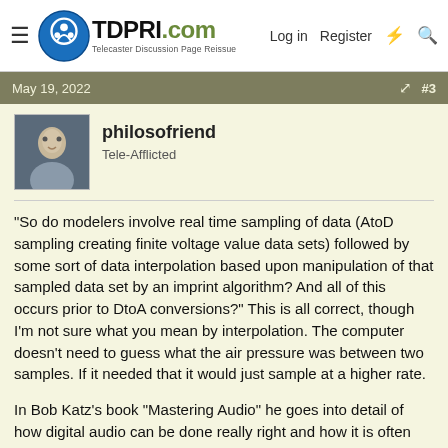TDPRI.com – Telecaster Discussion Page Reissue | Log in | Register
May 19, 2022  #3
philosofriend
Tele-Afflicted
"So do modelers involve real time sampling of data (AtoD sampling creating finite voltage value data sets) followed by some sort of data interpolation based upon manipulation of that sampled data set by an imprint algorithm? And all of this occurs prior to DtoA conversions?" This is all correct, though I'm not sure what you mean by interpolation. The computer doesn't need to guess what the air pressure was between two samples. If it needed that it would just sample at a higher rate.
In Bob Katz's book "Mastering Audio" he goes into detail of how digital audio can be done really right and how it is often done really wrong. It helps to go higher than 2x the highest frequency because there need to be filters to reduce ailiasing, and real filters do not act as perfect brickwall devices. It helps to sample